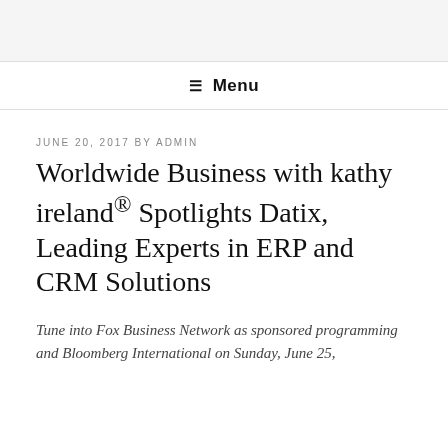≡ Menu
JUNE 20, 2017 BY ADMIN
Worldwide Business with kathy ireland® Spotlights Datix, Leading Experts in ERP and CRM Solutions
Tune into Fox Business Network as sponsored programming and Bloomberg International on Sunday, June 25,